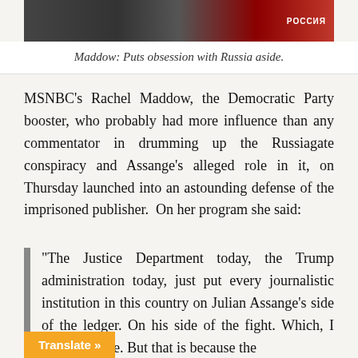[Figure (photo): Photo of Rachel Maddow on a TV set with red background elements]
Maddow: Puts obsession with Russia aside.
MSNBC's Rachel Maddow, the Democratic Party booster, who probably had more influence than any commentator in drumming up the Russiagate conspiracy and Assange's alleged role in it, on Thursday launched into an astounding defense of the imprisoned publisher. On her program she said:
“The Justice Department today, the Trump administration today, just put every journalistic institution in this country on Julian Assange’s side of the ledger. On his side of the fight. Which, I imaginable. But that is because the